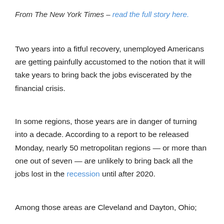From The New York Times – read the full story here.
Two years into a fitful recovery, unemployed Americans are getting painfully accustomed to the notion that it will take years to bring back the jobs eviscerated by the financial crisis.
In some regions, those years are in danger of turning into a decade. According to a report to be released Monday, nearly 50 metropolitan regions — or more than one out of seven — are unlikely to bring back all the jobs lost in the recession until after 2020.
Among those areas are Cleveland and Dayton, Ohio;